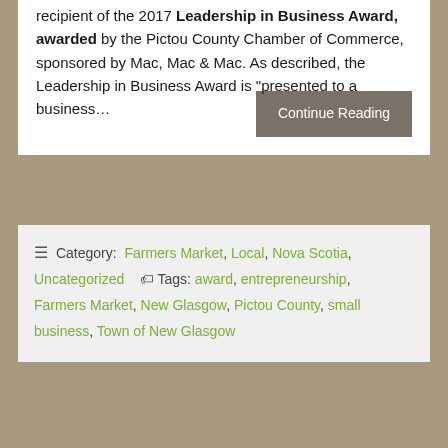recipient of the 2017 Leadership in Business Award, awarded by the Pictou County Chamber of Commerce, sponsored by Mac, Mac & Mac. As described, the Leadership in Business Award is "presented to a business…
Continue Reading
≡  Category: Farmers Market, Local, Nova Scotia, Uncategorized    🏷 Tags: award, entrepreneurship, Farmers Market, New Glasgow, Pictou County, small business, Town of New Glasgow
MUSIC AT THE MARKET- HAYLEY MACLEOD
Posted on September 29, 2017 by New Glasgow Farmers Market
Leave a Comment